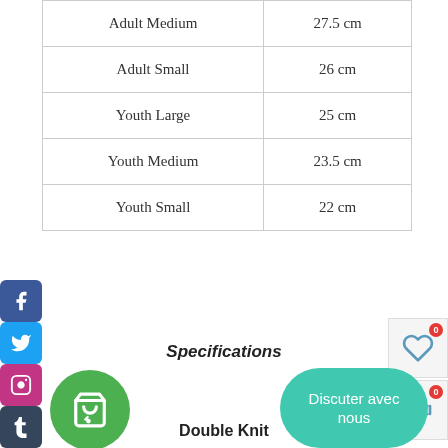| Size | Measurement |
| --- | --- |
| Adult Medium | 27.5 cm |
| Adult Small | 26 cm |
| Youth Large | 25 cm |
| Youth Medium | 23.5 cm |
| Youth Small | 22 cm |
Specifications
Double Knit